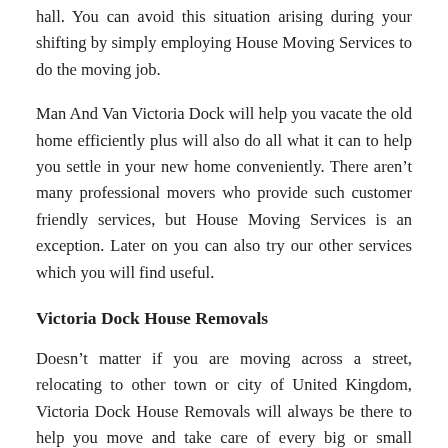hall. You can avoid this situation arising during your shifting by simply employing House Moving Services to do the moving job.
Man And Van Victoria Dock will help you vacate the old home efficiently plus will also do all what it can to help you settle in your new home conveniently. There aren’t many professional movers who provide such customer friendly services, but House Moving Services is an exception. Later on you can also try our other services which you will find useful.
Victoria Dock House Removals
Doesn’t matter if you are moving across a street, relocating to other town or city of United Kingdom, Victoria Dock House Removals will always be there to help you move and take care of every big or small aspect of the moving.